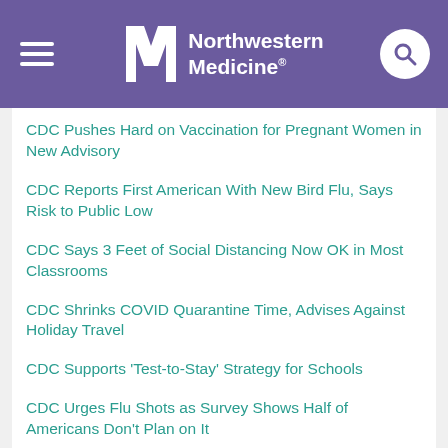Northwestern Medicine
CDC Pushes Hard on Vaccination for Pregnant Women in New Advisory
CDC Reports First American With New Bird Flu, Says Risk to Public Low
CDC Says 3 Feet of Social Distancing Now OK in Most Classrooms
CDC Shrinks COVID Quarantine Time, Advises Against Holiday Travel
CDC Supports 'Test-to-Stay' Strategy for Schools
CDC Urges Flu Shots as Survey Shows Half of Americans Don't Plan on It
CDC Warns of Coming Omicron Wave